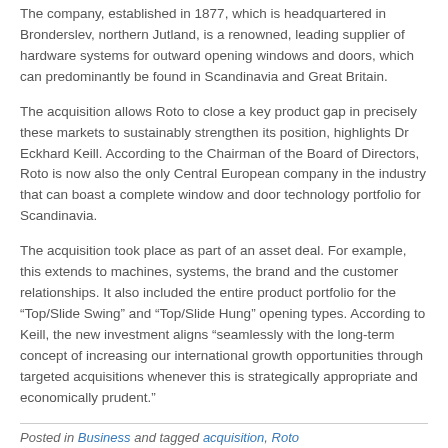The company, established in 1877, which is headquartered in Bronderslev, northern Jutland, is a renowned, leading supplier of hardware systems for outward opening windows and doors, which can predominantly be found in Scandinavia and Great Britain.
The acquisition allows Roto to close a key product gap in precisely these markets to sustainably strengthen its position, highlights Dr Eckhard Keill. According to the Chairman of the Board of Directors, Roto is now also the only Central European company in the industry that can boast a complete window and door technology portfolio for Scandinavia.
The acquisition took place as part of an asset deal. For example, this extends to machines, systems, the brand and the customer relationships. It also included the entire product portfolio for the “Top/Slide Swing” and “Top/Slide Hung” opening types. According to Keill, the new investment aligns “seamlessly with the long-term concept of increasing our international growth opportunities through targeted acquisitions whenever this is strategically appropriate and economically prudent.”
Posted in Business and tagged acquisition, Roto